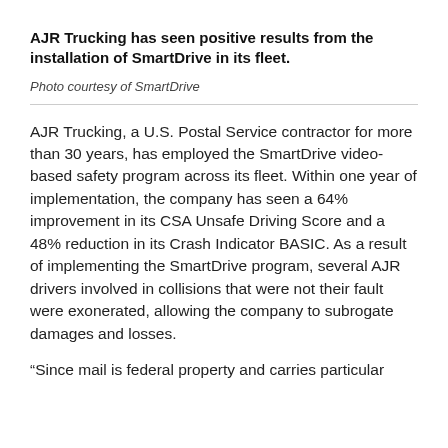AJR Trucking has seen positive results from the installation of SmartDrive in its fleet.
Photo courtesy of SmartDrive
AJR Trucking, a U.S. Postal Service contractor for more than 30 years, has employed the SmartDrive video-based safety program across its fleet. Within one year of implementation, the company has seen a 64% improvement in its CSA Unsafe Driving Score and a 48% reduction in its Crash Indicator BASIC. As a result of implementing the SmartDrive program, several AJR drivers involved in collisions that were not their fault were exonerated, allowing the company to subrogate damages and losses.
“Since mail is federal property and carries particular